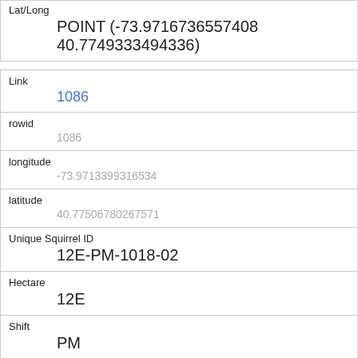| Lat/Long | POINT (-73.9716736557408 40.7749333494336) |
| Link | 1086 |
| rowid | 1086 |
| longitude | -73.9713399316534 |
| latitude | 40.77506780267571 |
| Unique Squirrel ID | 12E-PM-1018-02 |
| Hectare | 12E |
| Shift | PM |
| Date | 10182018 |
| Hectare Squirrel Number | 2 |